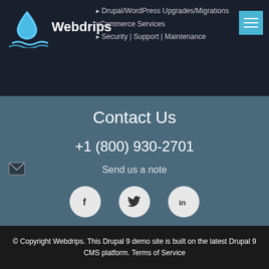[Figure (logo): Webdrips logo with blue water drop and wave icon, white text 'Webdrips']
Drupal/WordPress Upgrades/Migrations
eCommerce Services
Security | Support | Maintenance
Contact Us
+1 (800) 930-2701
Send us a note
[Figure (infographic): Three social media icons: Facebook (f), Twitter bird, LinkedIn (in) in white circles on dark background]
Newsletter Signup
© Copyright Webdrips. This Drupal 9 demo site is built on the latest Drupal 9 CMS platform. Terms of Service